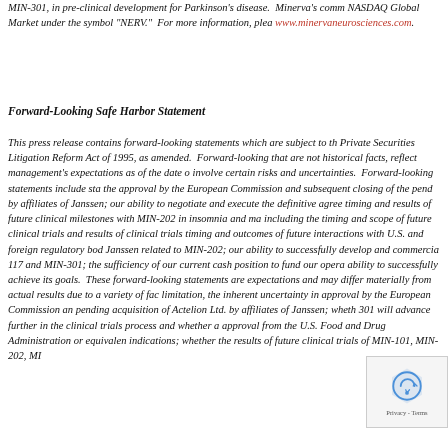MIN-301, in pre-clinical development for Parkinson's disease. Minerva's comm NASDAQ Global Market under the symbol "NERV." For more information, plea www.minervaneurosciences.com.
Forward-Looking Safe Harbor Statement
This press release contains forward-looking statements which are subject to th Private Securities Litigation Reform Act of 1995, as amended. Forward-looking that are not historical facts, reflect management's expectations as of the date o involve certain risks and uncertainties. Forward-looking statements include sta the approval by the European Commission and subsequent closing of the pend by affiliates of Janssen; our ability to negotiate and execute the definitive agree timing and results of future clinical milestones with MIN-202 in insomnia and ma including the timing and scope of future clinical trials and results of clinical trials timing and outcomes of future interactions with U.S. and foreign regulatory bod Janssen related to MIN-202; our ability to successfully develop and commercia 117 and MIN-301; the sufficiency of our current cash position to fund our opera ability to successfully achieve its goals. These forward-looking statements are expectations and may differ materially from actual results due to a variety of fac limitation, the inherent uncertainty in approval by the European Commission an pending acquisition of Actelion Ltd. by affiliates of Janssen; whether 301 will advance further in the clinical trials process and whether a approval from the U.S. Food and Drug Administration or equivalen indications; whether the results of future clinical trials of MIN-101, MIN-202, MI